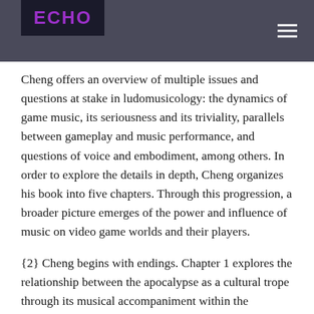ECHO
Cheng offers an overview of multiple issues and questions at stake in ludomusicology: the dynamics of game music, its seriousness and its triviality, parallels between gameplay and music performance, and questions of voice and embodiment, among others. In order to explore the details in depth, Cheng organizes his book into five chapters. Through this progression, a broader picture emerges of the power and influence of music on video game worlds and their players.
{2} Cheng begins with endings. Chapter 1 explores the relationship between the apocalypse as a cultural trope through its musical accompaniment within the postapocalyptic Fallout 3 and the game's built-in radio stations. In Chapter 2, Cheng examines the use of opera in Final Fantasy VI. The juxtaposition between Final Fantasy VI's simulated opera and fan-made, extravagant live concerts similarly makes a fantastic beginning into the exploration of live performance versus games. Chapter 3 is an exploration of player agency within